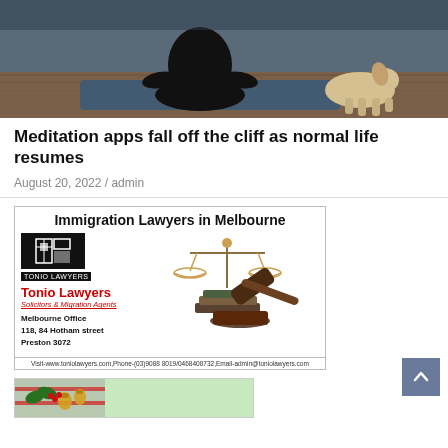[Figure (photo): Person sitting cross-legged in meditation pose on a yoga mat, with a dog nearby, on a wooden floor background.]
Meditation apps fall off the cliff as normal life resumes
August 20, 2022  /  admin
[Figure (illustration): Advertisement for Tonio Lawyers - Immigration Lawyers in Melbourne. Features Tonio Lawyers logo (black square with geometric design), scales of justice image, gavel and law books. Text: Solicitors & Migration Agents. Melbourne Office, 118, 84 Hotham street, Preston 3072. Visit-www.toniolawyers.com, Phone-(03)9088 8019/0468408732, Email-admin@toniolawyers.com]
[Figure (illustration): Partial view of another advertisement banner with Christmas/holiday decorations (bells, holly) visible on the left side, and a green background.]